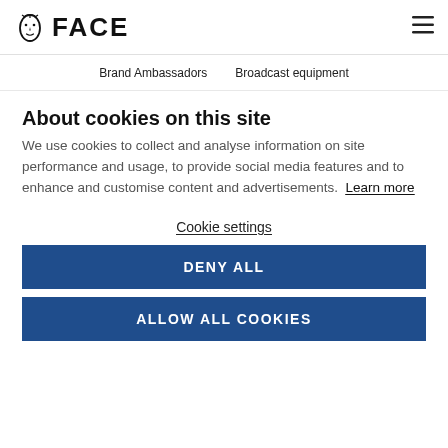FACE | Brand Ambassadors | Broadcast equipment
About cookies on this site
We use cookies to collect and analyse information on site performance and usage, to provide social media features and to enhance and customise content and advertisements. Learn more
Cookie settings
DENY ALL
ALLOW ALL COOKIES